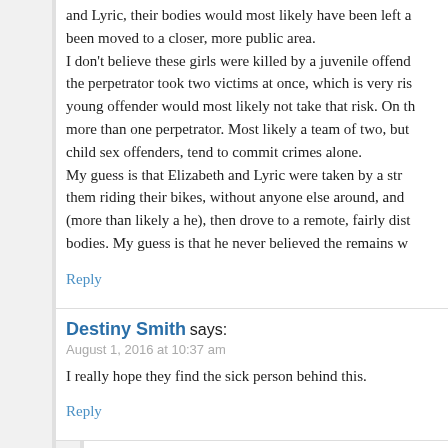and Lyric, their bodies would most likely have been left a been moved to a closer, more public area. I don't believe these girls were killed by a juvenile offend the perpetrator took two victims at once, which is very ris young offender would most likely not take that risk. On th more than one perpetrator. Most likely a team of two, but child sex offenders, tend to commit crimes alone. My guess is that Elizabeth and Lyric were taken by a str them riding their bikes, without anyone else around, and (more than likely a he), then drove to a remote, fairly dist bodies. My guess is that he never believed the remains w
Reply
Destiny Smith says:
August 1, 2016 at 10:37 am
I really hope they find the sick person behind this.
Reply
Mark Becker says:
August 1, 2016 at 12:23 am
Mexican drug gang…